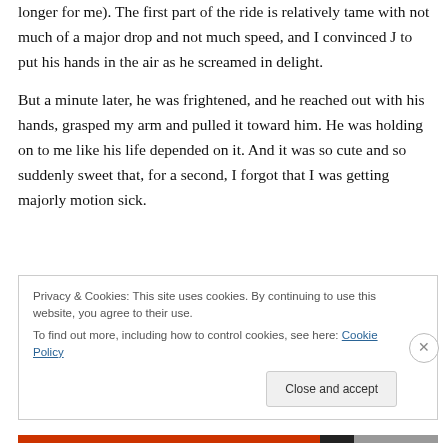longer for me). The first part of the ride is relatively tame with not much of a major drop and not much speed, and I convinced J to put his hands in the air as he screamed in delight.
But a minute later, he was frightened, and he reached out with his hands, grasped my arm and pulled it toward him. He was holding on to me like his life depended on it. And it was so cute and so suddenly sweet that, for a second, I forgot that I was getting majorly motion sick.
Privacy & Cookies: This site uses cookies. By continuing to use this website, you agree to their use. To find out more, including how to control cookies, see here: Cookie Policy